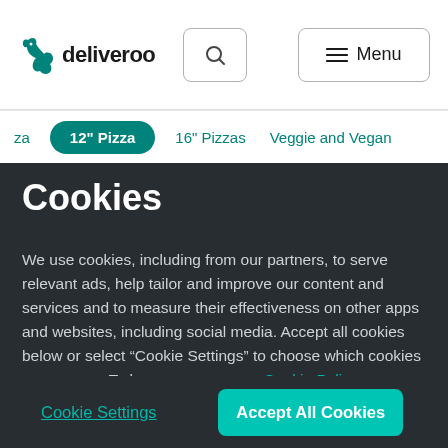[Figure (screenshot): Deliveroo website navigation bar with logo, search button, and menu button]
za   12" Pizza   16" Pizzas   Veggie and Vegan
Cookies
We use cookies, including from our partners, to serve relevant ads, help tailor and improve our content and services and to measure their effectiveness on other apps and websites, including social media. Accept all cookies below or select “Cookie Settings” to choose which cookies we can use. To learn more see our Cookie Policy
Cookie Settings
Accept All Cookies